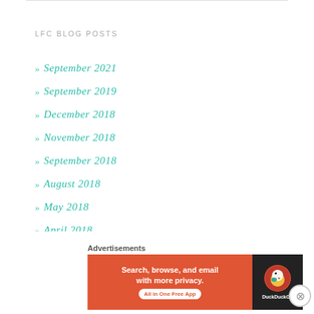LFC BLOG POSTS
» September 2021
» September 2019
» December 2018
» November 2018
» September 2018
» August 2018
» May 2018
» April 2018
» March 2018
» January 2018
Advertisements
[Figure (screenshot): DuckDuckGo advertisement banner: orange background with text 'Search, browse, and email with more privacy. All in One Free App' and DuckDuckGo duck logo on dark background]